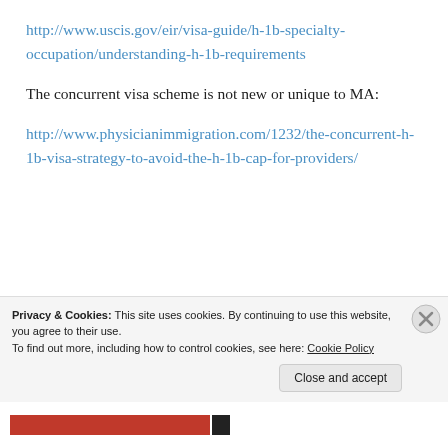http://www.uscis.gov/eir/visa-guide/h-1b-specialty-occupation/understanding-h-1b-requirements
The concurrent visa scheme is not new or unique to MA:
http://www.physicianimmigration.com/1232/the-concurrent-h-1b-visa-strategy-to-avoid-the-h-1b-cap-for-providers/
Privacy & Cookies: This site uses cookies. By continuing to use this website, you agree to their use.
To find out more, including how to control cookies, see here: Cookie Policy
Close and accept